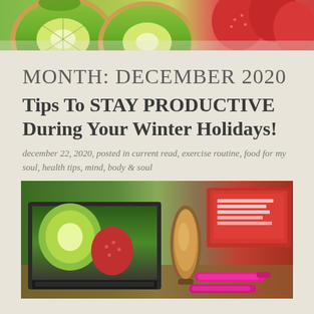[Figure (photo): Close-up photo of sliced kiwi fruit and strawberries on a surface]
MONTH: DECEMBER 2020
Tips To STAY PRODUCTIVE During Your Winter Holidays!
december 22, 2020, posted in current read, exercise routine, food for my soul, health tips, mind, body & soul
[Figure (photo): Desk scene with a laptop showing fruits on screen, a metallic egg-shaped timer, pink markers, and books with a colorful patterned background]